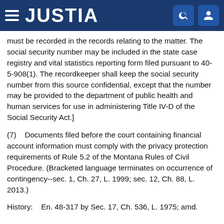JUSTIA
must be recorded in the records relating to the matter. The social security number may be included in the state case registry and vital statistics reporting form filed pursuant to 40-5-908(1). The recordkeeper shall keep the social security number from this source confidential, except that the number may be provided to the department of public health and human services for use in administering Title IV-D of the Social Security Act.]
(7)    Documents filed before the court containing financial account information must comply with the privacy protection requirements of Rule 5.2 of the Montana Rules of Civil Procedure. (Bracketed language terminates on occurrence of contingency--sec. 1, Ch. 27, L. 1999; sec. 12, Ch. 88, L. 2013.)
History:    En. 48-317 by Sec. 17, Ch. 536, L. 1975; amd.